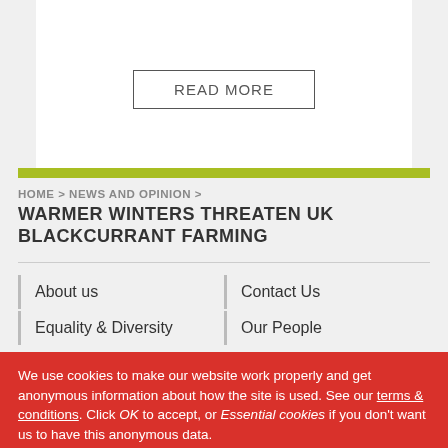[Figure (other): White card with READ MORE button]
HOME > NEWS AND OPINION >
WARMER WINTERS THREATEN UK BLACKCURRANT FARMING
About us
Contact Us
Equality & Diversity
Our People
We use cookies to make our website work properly and get anonymous information about how the site is used. See our terms & conditions. Click OK to accept, or Essential cookies if you don't want us to have this anonymous data.
OK
Essential cookies